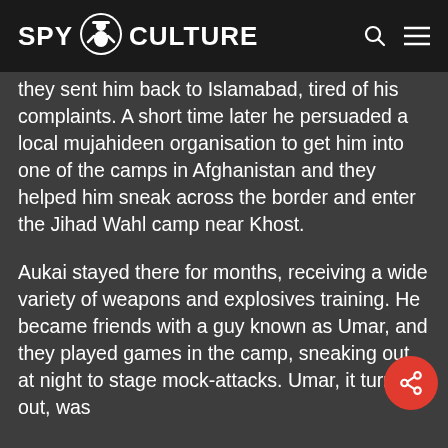SPY CULTURE
they sent him back to Islamabad, tired of his complaints. A short time later he persuaded a local mujahideen organisation to get him into one of the camps in Afghanistan and they helped him sneak across the border and enter the Jihad Wahl camp near Khost.
Aukai stayed there for months, receiving a wide variety of weapons and explosives training. He became friends with a guy known as Umar, and they played games in the camp, sneaking out at night to stage mock-attacks. Umar, it turns out, was